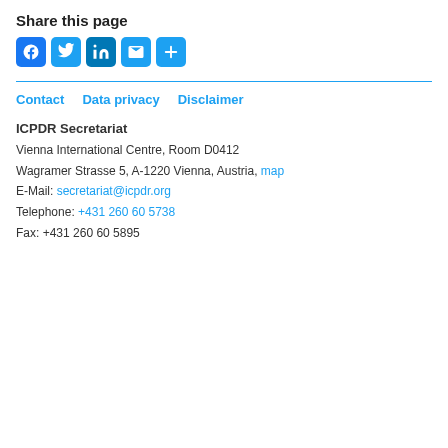Share this page
[Figure (infographic): Social sharing buttons: Facebook, Twitter, LinkedIn, Email, and More (+)]
Contact   Data privacy   Disclaimer
ICPDR Secretariat
Vienna International Centre, Room D0412
Wagramer Strasse 5, A-1220 Vienna, Austria, map
E-Mail: secretariat@icpdr.org
Telephone: +431 260 60 5738
Fax: +431 260 60 5895